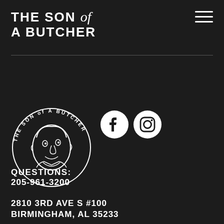THE SON of A BUTCHER
[Figure (logo): Son of a Butcher circular logo with illustrated face and text around the border]
[Figure (illustration): Facebook and Instagram social media icons]
QUESTIONS: 205-961-3200
2810 3RD AVE S #100 BIRMINGHAM, AL 35233